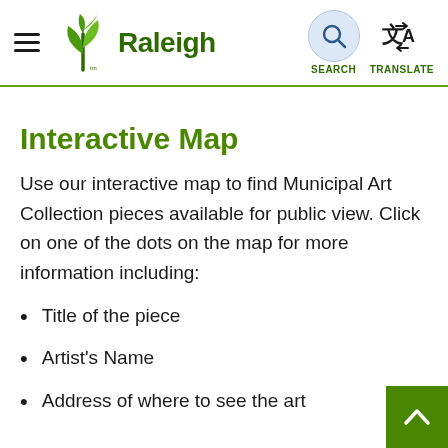Raleigh – Navigation header with hamburger menu, logo, Search and Translate buttons
Interactive Map
Use our interactive map to find Municipal Art Collection pieces available for public view. Click on one of the dots on the map for more information including:
Title of the piece
Artist's Name
Address of where to see the art